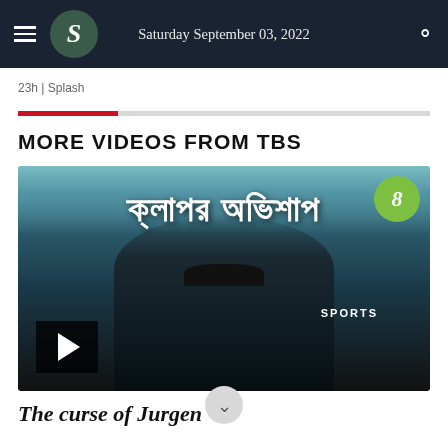Saturday September 03, 2022
23h | Splash
MORE VIDEOS FROM TBS
[Figure (screenshot): Video thumbnail showing a person (Jurgen Klopp) with hands raised near ears, Bengali text overlay reading 'ক্লাপর অভিশাপ', SPORTS label, TBS logo badge, and play button in bottom left corner.]
The curse of Jurgen